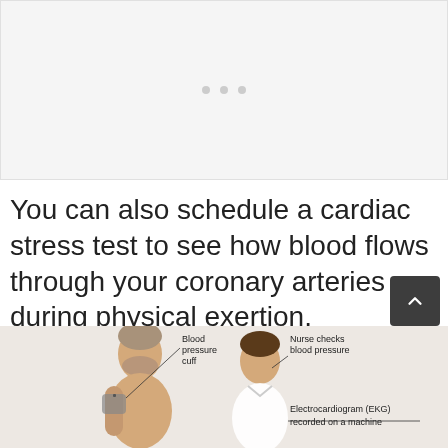[Figure (illustration): Placeholder image area with three grey dots, representing a medical image that failed to load or is loading]
You can also schedule a cardiac stress test to see how blood flows through your coronary arteries during physical exertion.
[Figure (illustration): Medical illustration showing a patient with blood pressure cuff and a nurse checking blood pressure, with labels: 'Blood pressure cuff', 'Nurse checks blood pressure', 'Electrocardiogram (EKG) recorded on a machine']